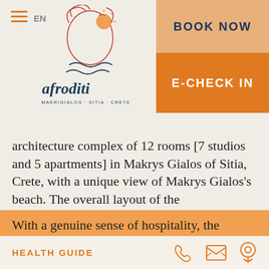[Figure (logo): Afroditi hotel logo with illustrated woman and sun, text reads 'afroditi MAKRIGIALOS · SITIA · CRETE']
BOOK NOW
E-CHECK IN
architecture complex of 12 rooms [7 studios and 5 apartments] in Makrys Gialos of Sitia, Crete, with a unique view of Makrys Gialos's beach. The overall layout of the accommodation is essential as it offers a view from every corner.
With a genuine sense of hospitality, the owners welcome guests from April to October, offering traditional Cretan raki and nuts and doina
HEALTH GUIDE